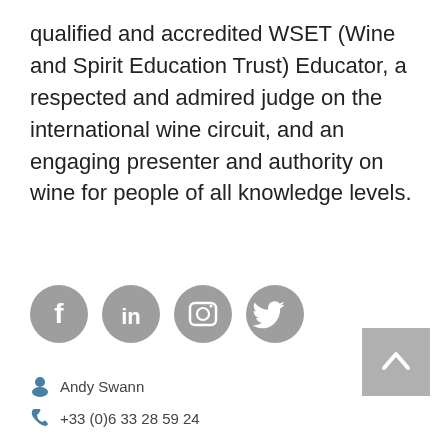qualified and accredited WSET (Wine and Spirit Education Trust) Educator, a respected and admired judge on the international wine circuit, and an engaging presenter and authority on wine for people of all knowledge levels.
[Figure (infographic): Four circular grey social media icons: Facebook, LinkedIn, Instagram, Twitter]
[Figure (other): Grey back-to-top button with upward pointing chevron/arrow]
Andy Swann
+33 (0)6 33 28 59 24